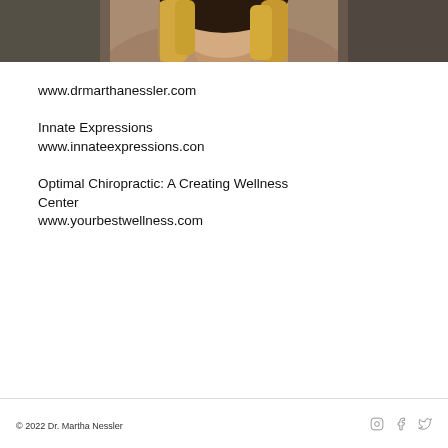[Figure (photo): Cropped photo of a person with blonde hair, showing top of head/shoulders, bottom portion of image visible at top of page]
www.drmarthanessler.com
Innate Expressions
www.innateexpressions.con
Optimal Chiropractic: A Creating Wellness Center
www.yourbestwellness.com
© 2022 Dr. Martha Nessler